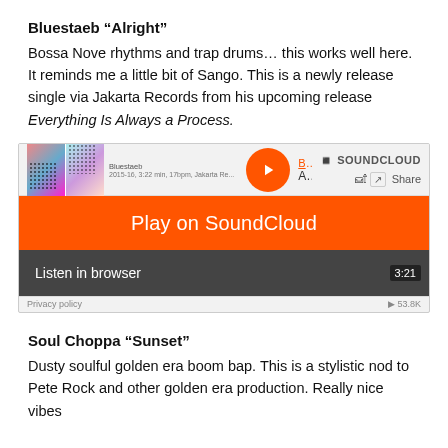Bluestaeb “Alright”
Bossa Nove rhythms and trap drums… this works well here. It reminds me a little bit of Sango. This is a newly release single via Jakarta Records from his upcoming release Everything Is Always a Process.
[Figure (screenshot): SoundCloud embedded player for Bluestaeb 'Alright' showing a Play on SoundCloud orange overlay button, Listen in browser label, waveform, 3:21 duration, 53.8K plays, and Privacy policy link.]
Soul Choppa “Sunset”
Dusty soulful golden era boom bap. This is a stylistic nod to Pete Rock and other golden era production. Really nice vibes